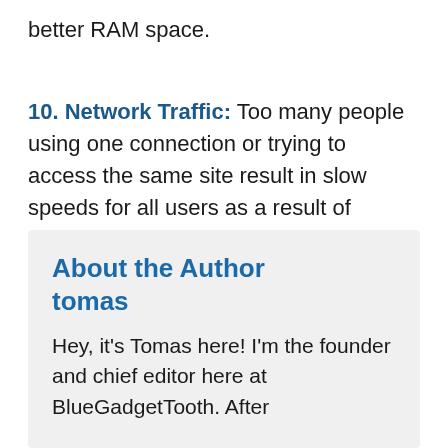better RAM space.
10. Network Traffic: Too many people using one connection or trying to access the same site result in slow speeds for all users as a result of congestion.
About the Author tomas
Hey, it's Tomas here! I'm the founder and chief editor here at BlueGadgetTooth. After